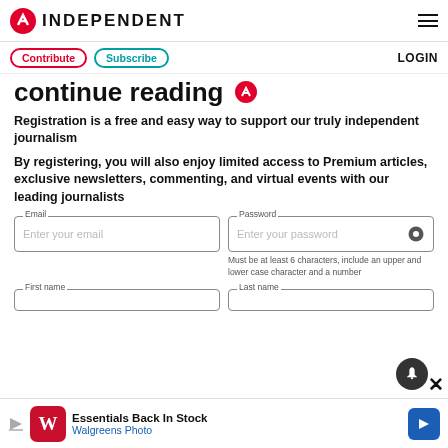INDEPENDENT
Contribute | Subscribe | LOGIN
continue reading
Registration is a free and easy way to support our truly independent journalism
By registering, you will also enjoy limited access to Premium articles, exclusive newsletters, commenting, and virtual events with our leading journalists
Email | Enter your email | Password | Enter your password
Must be at least 6 characters, include an upper and lower case character and a number
First name | Last name
Essentials Back In Stock — Walgreens Photo